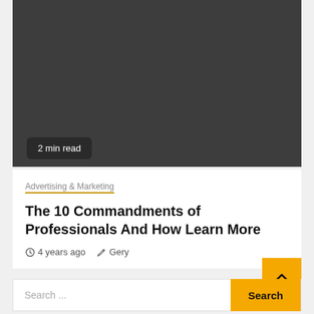[Figure (photo): Dark grey hero image placeholder at top of article card]
2 min read
Advertising & Marketing
The 10 Commandments of Professionals And How Learn More
4 years ago  Gery
Search ...